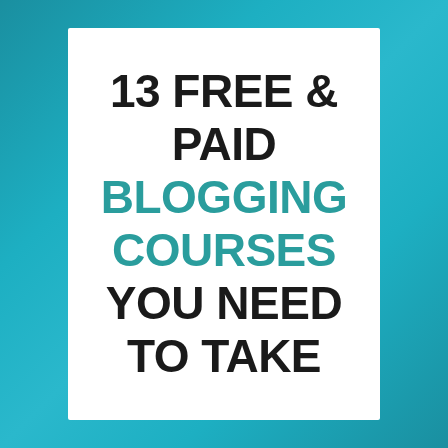[Figure (illustration): White card on teal/blue gradient background containing bold text about blogging courses]
13 FREE & PAID BLOGGING COURSES YOU NEED TO TAKE